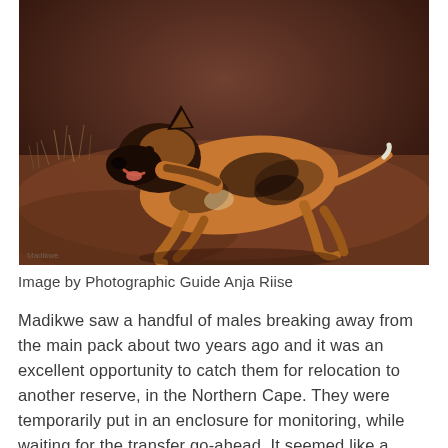[Figure (photo): A wild dog (African painted dog) running or moving on reddish-brown earth, photographed in low light. The animal has characteristic black, tan, and white mottled fur. Dry grass and shrubs are visible in the background.]
Image by Photographic Guide Anja Riise
Madikwe saw a handful of males breaking away from the main pack about two years ago and it was an excellent opportunity to catch them for relocation to another reserve, in the Northern Cape. They were temporarily put in an enclosure for monitoring, while waiting for the transfer go-ahead. It seemed like a rather straight forward procedure, but unfortunately the initial plans didn't work out and the brothers